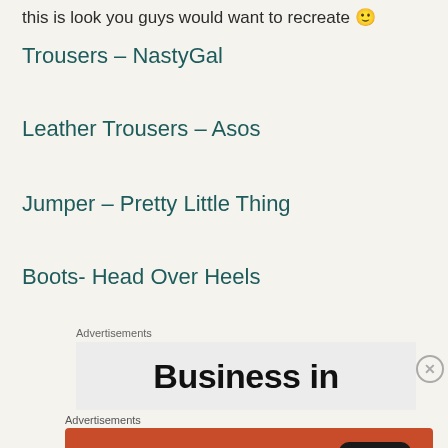this is look you guys would want to recreate 🙂
Trousers – NastyGal
Leather Trousers – Asos
Jumper – Pretty Little Thing
Boots- Head Over Heels
Advertisements
[Figure (other): Advertisement banner with text 'Business in' on grey background with close button]
Advertisements
[Figure (other): DuckDuckGo advertisement on orange background: 'Search, browse, and email with more privacy. All in One Free App' with phone graphic and DuckDuckGo logo]